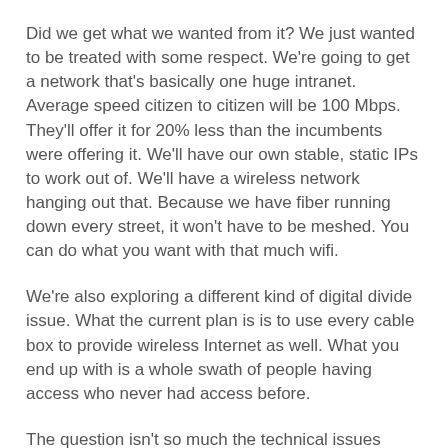Did we get what we wanted from it? We just wanted to be treated with some respect. We're going to get a network that's basically one huge intranet. Average speed citizen to citizen will be 100 Mbps. They'll offer it for 20% less than the incumbents were offering it. We'll have our own stable, static IPs to work out of. We'll have a wireless network hanging out that. Because we have fiber running down every street, it won't have to be meshed. You can do what you want with that much wifi.
We're also exploring a different kind of digital divide issue. What the current plan is is to use every cable box to provide wireless Internet as well. What you end up with is a whole swath of people having access who never had access before.
The question isn't so much the technical issues when we talk about openness but whether you want to own it in the long run. If you don't own it, you don't get the right to make those choices.